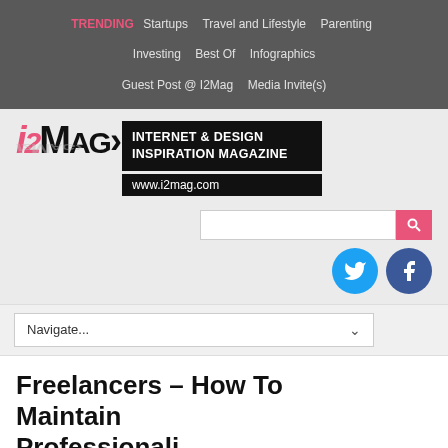TRENDING  Startups  Travel and Lifestyle  Parenting  Investing  Best Of  Infographics  Guest Post @ I2Mag  Media Invite(s)
[Figure (logo): i2Mag logo — bold stylized text 'i2MAG>' with arrow, reflected below. Right side: black block reading 'INTERNET & DESIGN INSPIRATION MAGAZINE' and 'www.i2mag.com']
[Figure (screenshot): Search bar with pink search button icon, Twitter and Facebook circular social icons to the right]
Navigate...
Freelancers – How To Maintain Professionalism...